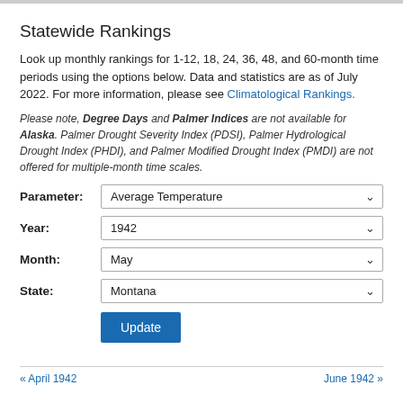Statewide Rankings
Look up monthly rankings for 1-12, 18, 24, 36, 48, and 60-month time periods using the options below. Data and statistics are as of July 2022. For more information, please see Climatological Rankings.
Please note, Degree Days and Palmer Indices are not available for Alaska. Palmer Drought Severity Index (PDSI), Palmer Hydrological Drought Index (PHDI), and Palmer Modified Drought Index (PMDI) are not offered for multiple-month time scales.
Parameter: Average Temperature
Year: 1942
Month: May
State: Montana
Update
« April 1942    June 1942 »